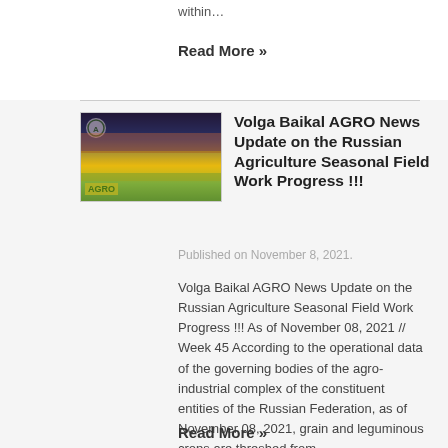within...
Read More »
[Figure (photo): Volga Baikal AGRO logo with field landscape image showing golden fields under a sunset sky with purple clouds]
Volga Baikal AGRO News Update on the Russian Agriculture Seasonal Field Work Progress !!!
Published on November 8, 2021.
Volga Baikal AGRO News Update on the Russian Agriculture Seasonal Field Work Progress !!! As of November 08, 2021 // Week 45 According to the operational data of the governing bodies of the agro-industrial complex of the constituent entities of the Russian Federation, as of November 08, 2021, grain and leguminous crops are threshed from…
Read More »